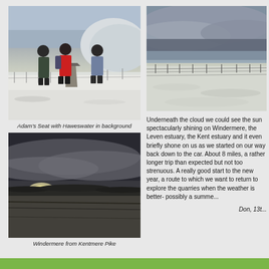[Figure (photo): Three hikers standing around a stone marker on a snowy hillside with Haweswater in the background]
Adam's Seat with Haweswater in background
[Figure (photo): Aerial/landscape view of Windermere from Kentmere Pike showing dramatic cloud and light over the lake]
Windermere from Kentmere Pike
[Figure (photo): Snowy winter landscape with fence posts visible and grey clouds overhead]
Underneath the cloud we could see the sun spectacularly shining on Windermere, the Leven estuary, the Kent estuary and it even briefly shone on us as we started on our way back down to the car. About 8 miles, a rather longer trip than expected but not too strenuous. A really good start to the new year, a route to which we want to return to explore the quarries when the weather is better- possibly a summe...
Don, 13t...